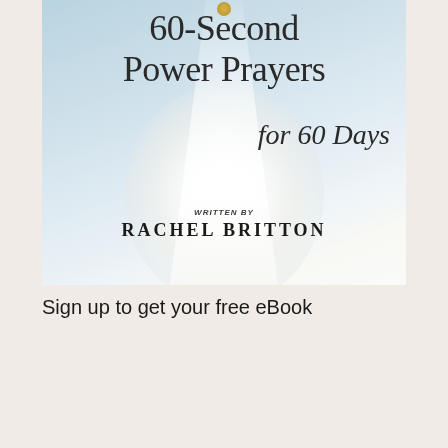[Figure (illustration): Book cover for '60-Second Power Prayers for 60 Days' by Rachel Britton. Light blue and white background with a glowing teardrop/angel figure silhouette. Title text at top, italic subtitle, and author name at bottom.]
Sign up to get your free eBook
[Figure (screenshot): Web form input field with placeholder text 'Your Name' and a reCAPTCHA badge in the bottom right corner showing the reCAPTCHA logo and 'Privacy - Terms' text.]